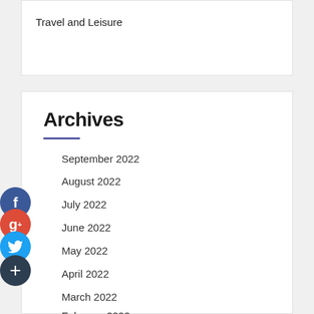Travel and Leisure
Archives
September 2022
August 2022
July 2022
June 2022
May 2022
April 2022
March 2022
February 2022